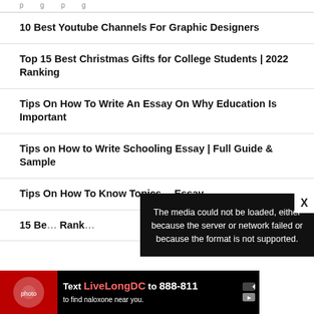p   g   p   g
10 Best Youtube Channels For Graphic Designers
Top 15 Best Christmas Gifts for College Students | 2022 Ranking
Tips On How To Write An Essay On Why Education Is Important
Tips on How to Write Schooling Essay | Full Guide & Sample
Tips On How To Know Topics…Essay
15 Be… Ranking
[Figure (other): Media error overlay: 'The media could not be loaded, either because the server or network failed or because the format is not supported.' with X close button]
[Figure (other): Advertisement banner: Text LiveLongDC to 888-811 to find naloxone near you.]